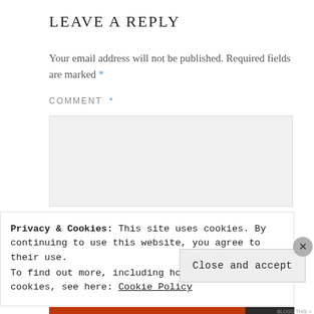LEAVE A REPLY
Your email address will not be published. Required fields are marked *
COMMENT *
[comment textarea box]
Privacy & Cookies: This site uses cookies. By continuing to use this website, you agree to their use.
To find out more, including how to control cookies, see here: Cookie Policy
Close and accept